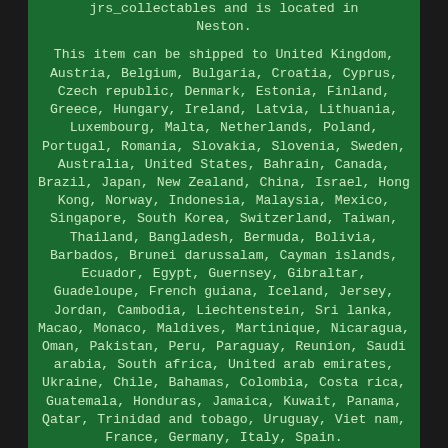jrs_collectables and is located in Neston.

This item can be shipped to United Kingdom, Austria, Belgium, Bulgaria, Croatia, Cyprus, Czech republic, Denmark, Estonia, Finland, Greece, Hungary, Ireland, Latvia, Lithuania, Luxembourg, Malta, Netherlands, Poland, Portugal, Romania, Slovakia, Slovenia, Sweden, Australia, United States, Bahrain, Canada, Brazil, Japan, New Zealand, China, Israel, Hong Kong, Norway, Indonesia, Malaysia, Mexico, Singapore, South Korea, Switzerland, Taiwan, Thailand, Bangladesh, Bermuda, Bolivia, Barbados, Brunei darussalam, Cayman islands, Ecuador, Egypt, Guernsey, Gibraltar, Guadeloupe, French guiana, Iceland, Jersey, Jordan, Cambodia, Liechtenstein, Sri lanka, Macao, Monaco, Maldives, Martinique, Nicaragua, Oman, Pakistan, Peru, Paraguay, Reunion, Saudi arabia, South africa, United arab emirates, Ukraine, Chile, Bahamas, Colombia, Costa rica, Guatemala, Honduras, Jamaica, Kuwait, Panama, Qatar, Trinidad and tobago, Uruguay, Viet nam, France, Germany, Italy, Spain.

Country/Region of Manufacture: United